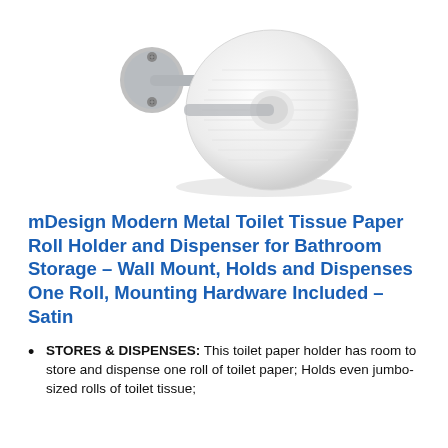[Figure (photo): Product photo of a brushed satin metal toilet paper holder with a wall-mounted bracket and a white toilet paper roll loaded on it, shown on a white background.]
mDesign Modern Metal Toilet Tissue Paper Roll Holder and Dispenser for Bathroom Storage – Wall Mount, Holds and Dispenses One Roll, Mounting Hardware Included – Satin
STORES & DISPENSES: This toilet paper holder has room to store and dispense one roll of toilet paper; Holds even jumbo-sized rolls of toilet tissue;